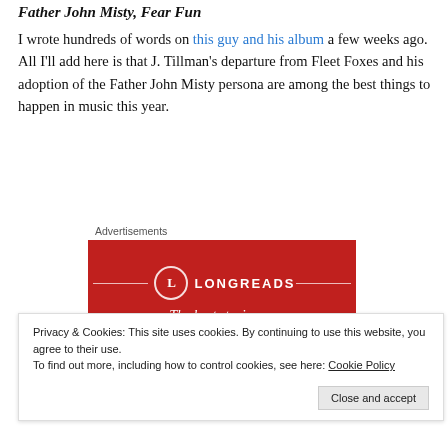Father John Misty, Fear Fun
I wrote hundreds of words on this guy and his album a few weeks ago. All I'll add here is that J. Tillman's departure from Fleet Foxes and his adoption of the Father John Misty persona are among the best things to happen in music this year.
[Figure (other): Longreads advertisement banner with red background, circular L logo, and text 'LONGREADS' and 'The best stories on']
Privacy & Cookies: This site uses cookies. By continuing to use this website, you agree to their use.
To find out more, including how to control cookies, see here: Cookie Policy